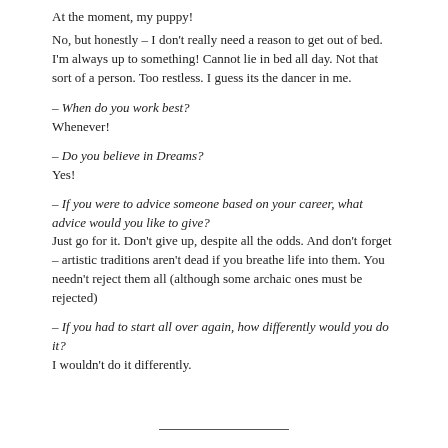At the moment, my puppy!
No, but honestly – I don't really need a reason to get out of bed. I'm always up to something! Cannot lie in bed all day. Not that sort of a person. Too restless. I guess its the dancer in me.
– When do you work best?
Whenever!
– Do you believe in Dreams?
Yes!
– If you were to advice someone based on your career, what advice would you like to give?
Just go for it. Don't give up, despite all the odds. And don't forget – artistic traditions aren't dead if you breathe life into them. You needn't reject them all (although some archaic ones must be rejected)
– If you had to start all over again, how differently would you do it?
I wouldn't do it differently.